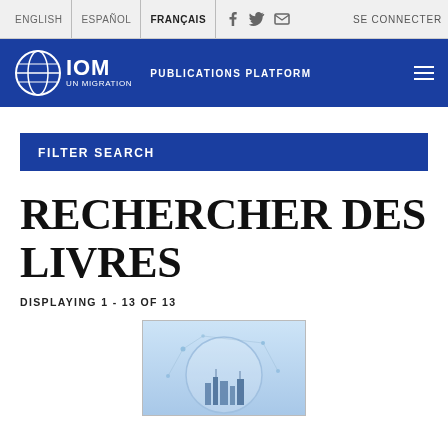ENGLISH | ESPAÑOL | FRANÇAIS | SE CONNECTER
[Figure (logo): IOM UN Migration Publications Platform logo and navigation header bar in blue]
FILTER SEARCH
RECHERCHER DES LIVRES
DISPLAYING 1 - 13 OF 13
[Figure (illustration): Book cover showing a city skyline inside a globe with network connections on a light blue background]